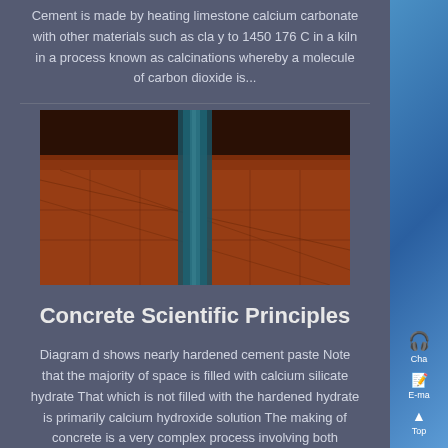Cement is made by heating limestone calcium carbonate with other materials such as cla y to 1450 176 C in a kiln in a process known as calcinations whereby a molecule of carbon dioxide is...
[Figure (photo): Photo of industrial kiln or furnace interior showing orange/red heated material with a blue/teal vertical element]
Concrete Scientific Principles
Diagram d shows nearly hardened cement paste Note that the majority of space is filled with calcium silicate hydrate That which is not filled with the hardened hydrate is primarily calcium hydroxide solution The making of concrete is a very complex process involving both chemical and physical chang It is a material of great...
[Figure (photo): Photo of a construction worker in a blue shirt and hard hat working at a construction site]